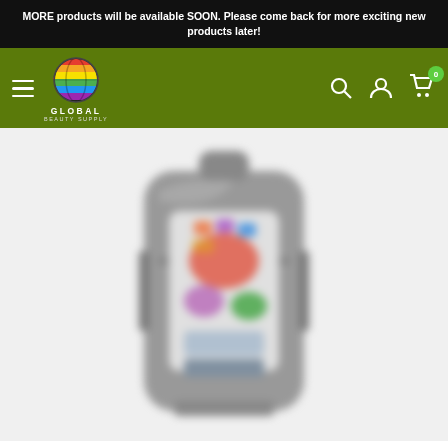MORE products will be available SOON. Please come back for more exciting new products later!
[Figure (logo): Global Beauty Supply logo: colorful globe icon above the text GLOBAL BEAUTY SUPPLY on a green navigation bar with hamburger menu, search icon, account icon, and cart icon with badge showing 0]
[Figure (photo): Blurred product photo of a backpack with colorful graphic print design on a light background]